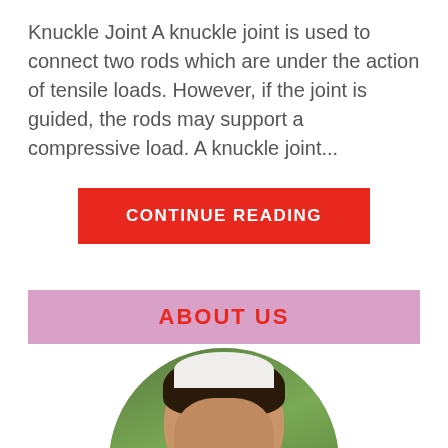Knuckle Joint A knuckle joint is used to connect two rods which are under the action of tensile loads. However, if the joint is guided, the rods may support a compressive load. A knuckle joint...
CONTINUE READING
ABOUT US
[Figure (photo): Circular portrait photo of a man wearing a white cap, with dark hair, looking slightly to the left, green foliage in background.]